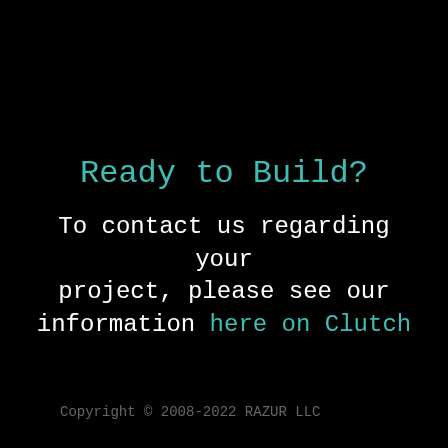Ready to Build?
To contact us regarding your project, please see our information here on Clutch
Copyright © 2008-2022 RAZUR LLC